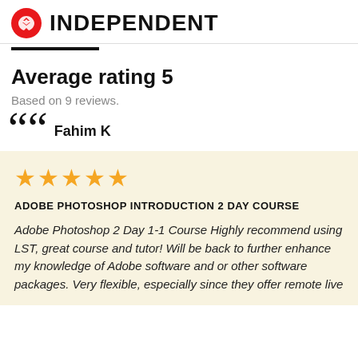[Figure (logo): The Independent logo with red circle eagle icon and bold INDEPENDENT text]
Average rating 5
Based on 9 reviews.
Fahim K
★★★★★ (5 stars)
ADOBE PHOTOSHOP INTRODUCTION 2 DAY COURSE
Adobe Photoshop 2 Day 1-1 Course Highly recommend using LST, great course and tutor! Will be back to further enhance my knowledge of Adobe software and or other software packages. Very flexible, especially since they offer remote live